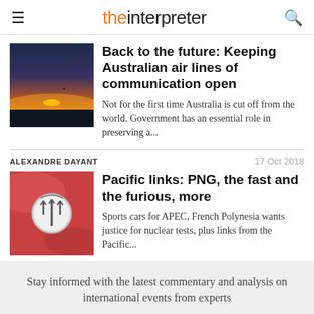the interpreter
Back to the future: Keeping Australian air lines of communication open
Not for the first time Australia is cut off from the world. Government has an essential role in preserving a...
ALEXANDRE DAYANT  17 Oct 2018
Pacific links: PNG, the fast and the furious, more
Sports cars for APEC, French Polynesia wants justice for nuclear tests, plus links from the Pacific...
Stay informed with the latest commentary and analysis on international events from experts